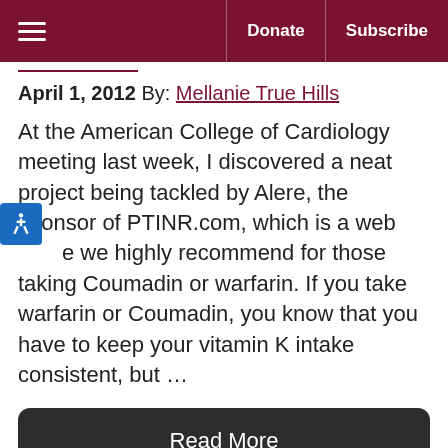≡  Donate  Subscribe
April 1, 2012 By: Mellanie True Hills
At the American College of Cardiology meeting last week, I discovered a neat project being tackled by Alere, the sponsor of PTINR.com, which is a web site we highly recommend for those taking Coumadin or warfarin. If you take warfarin or Coumadin, you know that you have to keep your vitamin K intake consistent, but …
Read More